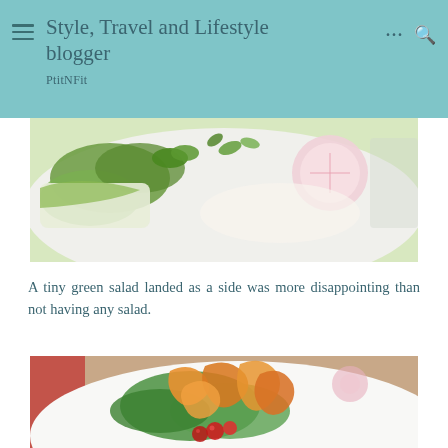Style, Travel and Lifestyle blogger — PtitNFit
[Figure (photo): Close-up photo of a green salad with herbs, radish slices, and white dressing on a plate]
A tiny green salad landed as a side was more disappointing than not having any salad.
[Figure (photo): Colorful salad on a white plate with curled carrot ribbons, green lettuce leaves, and cherry tomatoes]